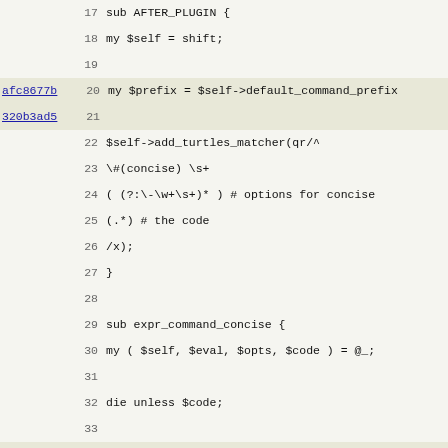Source code listing lines 17-49 with git blame hashes
17: sub AFTER_PLUGIN {
18:     my $self = shift;
19: (blank)
afc8677b 20:     my $prefix = $self->default_command_prefix
320b3ad5 21: (blank)
22:     $self->add_turtles_matcher(qr/^
23:         \#(concise) \s+
24:         ( (?:\-\w+\s+)* ) # options for concise
25:         (.*) # the code
26:         /x);
27: }
28: (blank)
29: sub expr_command_concise {
30:     my ( $self, $eval, $opts, $code ) = @_;
31: (blank)
32:     die unless $code;
33: (blank)
9c3c6bc8 34:     my %opts = map { $_ => 1 } (split /\s+/, $
35: (blank)
36:     my $sub = $self->compile($code, no_manglin
320b3ad5 37: (blank)
3d22167c 38:     if ( $self->is_error($sub) ) {
39:         return $self->format($sub);
40:     } else {
41:         open my $fh, ">", \my $out;
42:         {
43:             local *STDOUT = $fh;
9c3c6bc8 44:             B::Concise::compile(keys %opts, $sub)-
3d22167c 45:         }
46: (blank)
47:         return $out;
320b3ad5 48:     }
320b3ad5 49: }